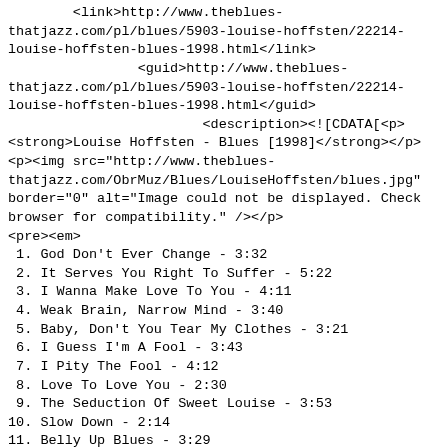<link>http://www.theblues-thatjazz.com/pl/blues/5903-louise-hoffsten/22214-louise-hoffsten-blues-1998.html</link>
<guid>http://www.theblues-thatjazz.com/pl/blues/5903-louise-hoffsten/22214-louise-hoffsten-blues-1998.html</guid>
<description><![CDATA[<p>
<strong>Louise Hoffsten - Blues [1998]</strong></p>
<p><img src="http://www.theblues-thatjazz.com/ObrMuz/Blues/LouiseHoffsten/blues.jpg" border="0" alt="Image could not be displayed. Check browser for compatibility." /></p>
<pre><em>
 1. God Don't Ever Change - 3:32
 2. It Serves You Right To Suffer - 5:22
 3. I Wanna Make Love To You - 4:11
 4. Weak Brain, Narrow Mind - 3:40
 5. Baby, Don't You Tear My Clothes - 3:21
 6. I Guess I'm A Fool - 3:43
 7. I Pity The Fool - 4:12
 8. Love To Love You - 2:30
 9. The Seduction Of Sweet Louise - 3:53
10. Slow Down - 2:14
11. Belly Up Blues - 3:29
12. Darling, Do You Remember Me ? - 3:13
</em></pre>
Staffan Astner - Guitar
Backa Hans Eriksson - Bass
Hans Gedda      Photography
Louise Hoffsten - Harmonica, Vocals
Christen Jansson - Drums, Percussion